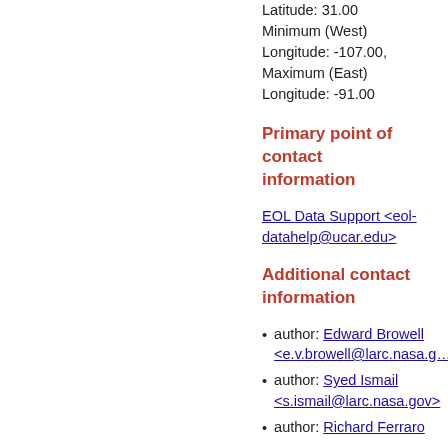Latitude: 31.00 Minimum (West) Longitude: -107.00, Maximum (East) Longitude: -91.00
Primary point of contact information
EOL Data Support <eol-datahelp@ucar.edu>
Additional contact information
author: Edward Browell <e.v.browell@larc.nasa.g…
author: Syed Ismail <s.ismail@larc.nasa.gov>
author: Richard Ferraro